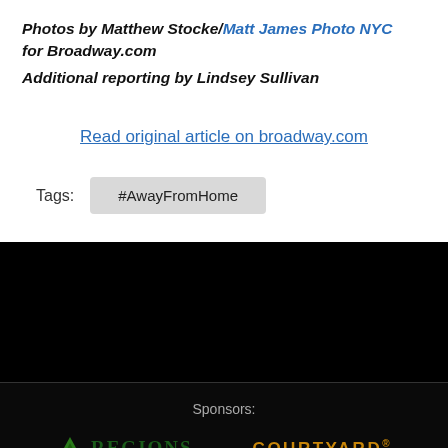Photos by Matthew Stocke/Matt James Photo NYC for Broadway.com
Additional reporting by Lindsey Sullivan
Read original article on broadway.com
Tags: #AwayFromHome
[Figure (other): Dark black footer section]
Sponsors:
[Figure (logo): Regions Bank logo with green triangle mountain icon and REGIONS text]
[Figure (logo): Courtyard by Marriott logo in gold/amber color]